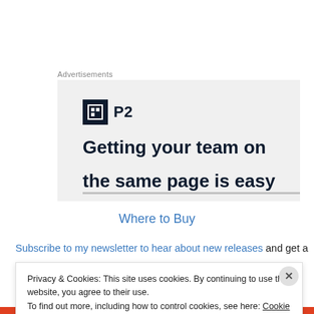Advertisements
[Figure (screenshot): Advertisement for P2 software showing logo with dark square icon, bold text 'Getting your team on' and partially clipped second line of text on a light gray background]
Where to Buy
Subscribe to my newsletter to hear about new releases and get a
Privacy & Cookies: This site uses cookies. By continuing to use this website, you agree to their use. To find out more, including how to control cookies, see here: Cookie Policy
Close and accept